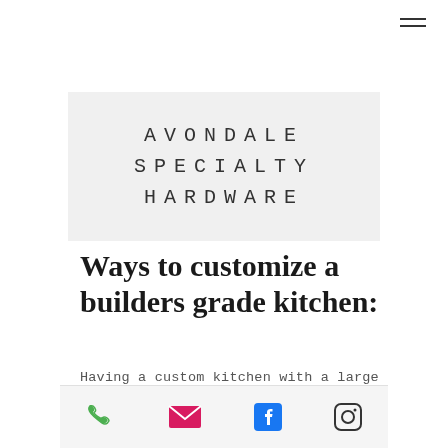[Figure (other): Hamburger menu icon (three horizontal lines) in top right corner]
AVONDALE SPECIALTY HARDWARE
Ways to customize a builders grade kitchen:
Having a custom kitchen with a large island, custom cabinets, and all the bells & whistles is everyone's dream but everyone's budget is different. Below are
[Figure (infographic): Bottom navigation bar with phone, email, Facebook, and Instagram icons]